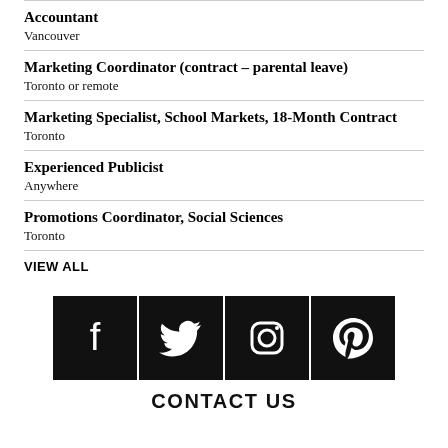Accountant
Vancouver
Marketing Coordinator (contract – parental leave)
Toronto or remote
Marketing Specialist, School Markets, 18-Month Contract
Toronto
Experienced Publicist
Anywhere
Promotions Coordinator, Social Sciences
Toronto
VIEW ALL
[Figure (infographic): Social media icons row: Facebook, Twitter, Instagram, Pinterest — white icons on black square backgrounds]
CONTACT US